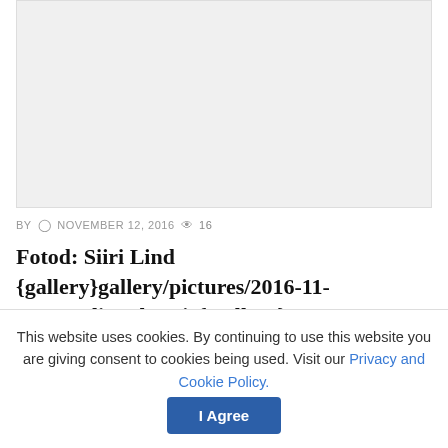[Figure (photo): Light grey image placeholder area at top of page]
BY  NOVEMBER 12, 2016  16
Fotod: Siiri Lind {gallery}gallery/pictures/2016-11-03_Nordic_Electric{/gallery}
Kringlikorporuse NouVorci Eesti Maiss 01
This website uses cookies. By continuing to use this website you are giving consent to cookies being used. Visit our Privacy and Cookie Policy.